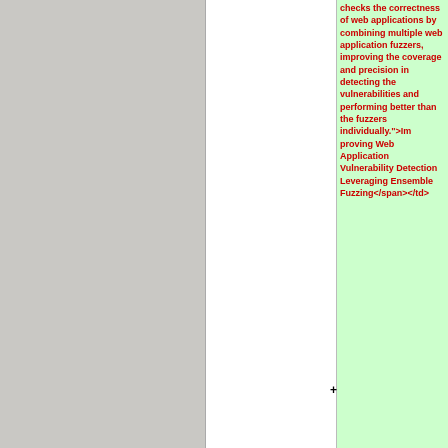[Figure (screenshot): Screenshot of a diff/code review view showing a table cell with red highlighted text. The text shows HTML/XML content including a tooltip/title attribute describing a web application fuzzing paper: 'checks the correctness of web applications by combining multiple web application fuzzers, improving the coverage and precision in detecting the vulnerabilities and performing better than the fuzzers individually.">Improving Web Application Vulnerability Detection Leveraging Ensemble Fuzzing</span></td>'. A plus sign on the left margin indicates an added line. Below that is another added line beginning with '<td style="width:30p'. The left portion is a gray gutter area, middle is white, and right column has green highlight background.]